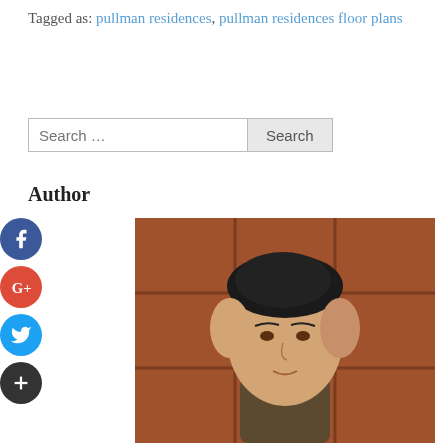Tagged as: pullman residences, pullman residences floor plans
[Figure (screenshot): Search bar with text 'Search ...' and a Search button]
Author
[Figure (photo): Portrait photo of a young Asian man with a faded undercut hairstyle against a brown tiled background]